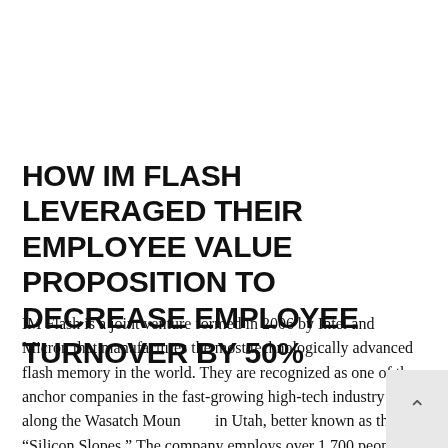HOW IM FLASH LEVERAGED THEIR EMPLOYEE VALUE PROPOSITION TO DECREASE EMPLOYEE TURNOVER BY 50%
IM Flash is a joint venture formed in 2006 by Intel and Micron that manufactures the most technologically advanced flash memory in the world. They are recognized as one of the anchor companies in the fast-growing high-tech industry along the Wasatch Mountains in Utah, better known as the “Silicon Slopes.” The company employs over 1,700 people, mostly engineers